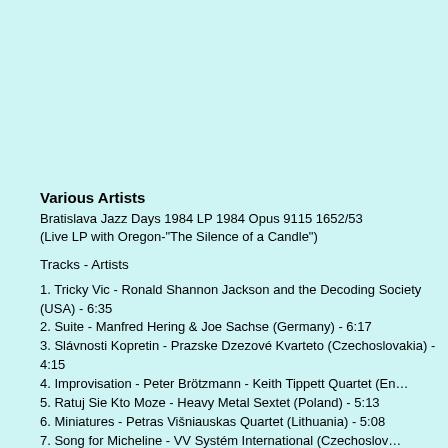Various Artists
Bratislava Jazz Days 1984 LP 1984 Opus 9115 1652/53
(Live LP with Oregon-"The Silence of a Candle")
Tracks - Artists
1. Tricky Vic - Ronald Shannon Jackson and the Decoding Society (USA) - 6:35
2. Suite - Manfred Hering & Joe Sachse (Germany) - 6:17
3. Slávnosti Kopretin - Prazske Dzezové Kvarteto (Czechoslovakia) - 4:15
4. Improvisation - Peter Brötzmann - Keith Tippett Quartet (En…
5. Ratuj Sie Kto Moze - Heavy Metal Sextet (Poland) - 5:13
6. Miniatures - Petras Višniauskas Quartet (Lithuania) - 5:08
7. Song for Micheline - VV Systém International (Czechoslov…